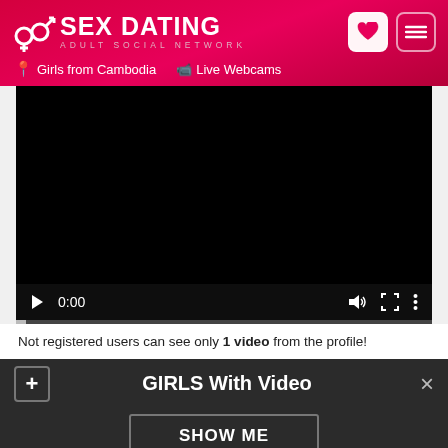SEX DATING ADULT SOCIAL NETWORK - Girls from Cambodia | Live Webcams
[Figure (screenshot): Embedded video player showing black screen with playback controls at bottom: play button, 0:00 timestamp, volume, fullscreen, and more options icons, with a progress bar below.]
Not registered users can see only 1 video from the profile!
GIRLS With Video
SHOW ME